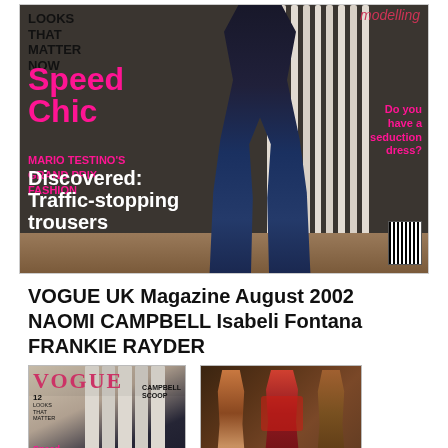[Figure (photo): Magazine cover of Vogue UK August 2002 showing a model in dark wide-leg jeans seated on a white radiator. Text overlays include 'Speed Chic', 'MARIO TESTINO'S GRAND PRIX FASHION', 'Do you have a seduction dress?', 'Discovered: Traffic-stopping trousers', and other cover lines in pink and white.]
VOGUE UK Magazine August 2002 NAOMI CAMPBELL Isabeli Fontana FRANKIE RAYDER
[Figure (photo): Small thumbnail of the Vogue UK August 2002 magazine cover showing Naomi Campbell on the cover with 'CAMPBELL SCOOP' text visible.]
[Figure (photo): Small thumbnail showing three models/figures in a colorful fashion editorial photo.]